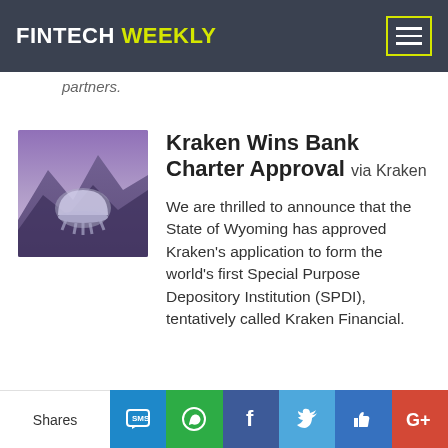FINTECH WEEKLY
partners.
Kraken Wins Bank Charter Approval via Kraken
We are thrilled to announce that the State of Wyoming has approved Kraken's application to form the world's first Special Purpose Depository Institution (SPDI), tentatively called Kraken Financial.
[Figure (photo): Kraken logo with mountain landscape background, purple/blue tones]